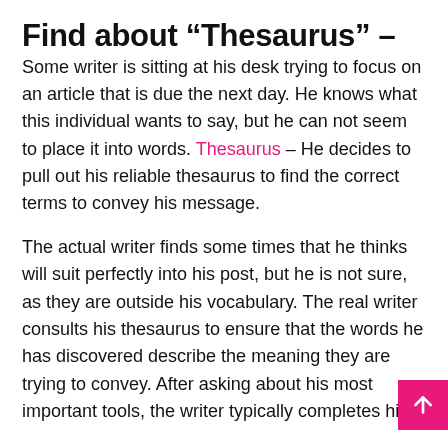Find about “Thesaurus” –
Some writer is sitting at his desk trying to focus on an article that is due the next day. He knows what this individual wants to say, but he can not seem to place it into words. Thesaurus – He decides to pull out his reliable thesaurus to find the correct terms to convey his message.
The actual writer finds some times that he thinks will suit perfectly into his post, but he is not sure, as they are outside his vocabulary. The real writer consults his thesaurus to ensure that the words he has discovered describe the meaning they are trying to convey. After asking about his most important tools, the writer typically completes his